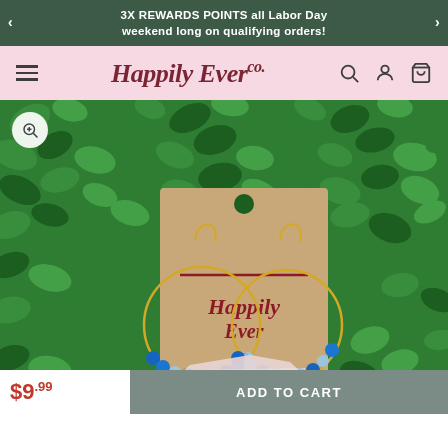3X REWARDS POINTS all Labor Day weekend long on qualifying orders!
Happily Ever Co.
[Figure (photo): Product photo of gold hoop earrings with blue beads displayed on a kraft paper jewelry card branded Happily Ever Co., placed on a white crystal/rock, against a green botanical hedge background.]
$9.99
ADD TO CART